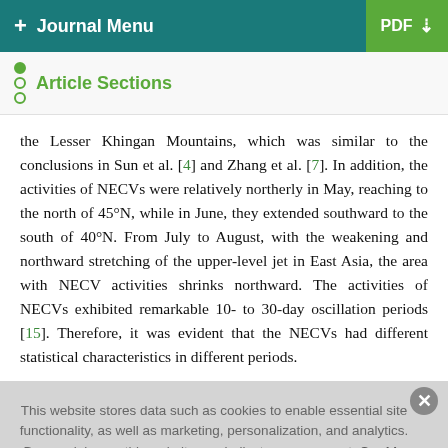+ Journal Menu | PDF ↓
Article Sections
the Lesser Khingan Mountains, which was similar to the conclusions in Sun et al. [4] and Zhang et al. [7]. In addition, the activities of NECVs were relatively northerly in May, reaching to the north of 45°N, while in June, they extended southward to the south of 40°N. From July to August, with the weakening and northward stretching of the upper-level jet in East Asia, the area with NECV activities shrinks northward. The activities of NECVs exhibited remarkable 10- to 30-day oscillation periods [15]. Therefore, it was evident that the NECVs had different statistical characteristics in different periods.
This website stores data such as cookies to enable essential site functionality, as well as marketing, personalization, and analytics. By remaining on this website you indicate your consent. Cookie Policy